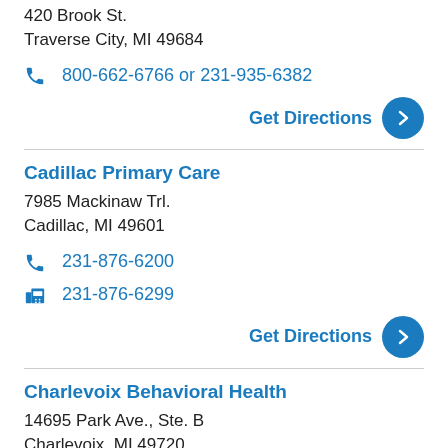420 Brook St.
Traverse City, MI 49684
800-662-6766 or 231-935-6382
Get Directions
Cadillac Primary Care
7985 Mackinaw Trl.
Cadillac, MI 49601
231-876-6200
231-876-6299
Get Directions
Charlevoix Behavioral Health
14695 Park Ave., Ste. B
Charlevoix, MI 49720